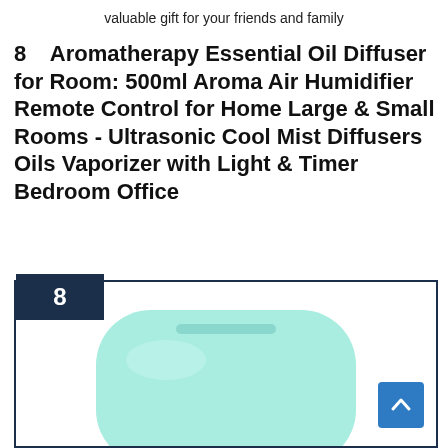valuable gift for your friends and family
8   Aromatherapy Essential Oil Diffuser for Room: 500ml Aroma Air Humidifier Remote Control for Home Large & Small Rooms - Ultrasonic Cool Mist Diffusers Oils Vaporizer with Light & Timer Bedroom Office
[Figure (photo): Product card with dark navy badge showing number 8, bordered with dark navy outline, containing an image of a teal/mint colored aromatherapy essential oil diffuser humidifier device, rounded rectangular shape. A blue back-to-top button with upward arrow is visible in the bottom right.]